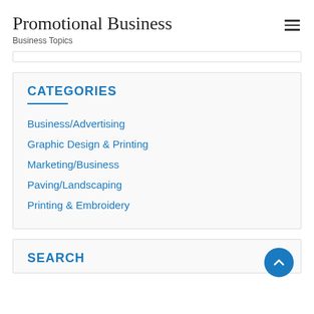Promotional Business
Business Topics
CATEGORIES
Business/Advertising
Graphic Design & Printing
Marketing/Business
Paving/Landscaping
Printing & Embroidery
SEARCH